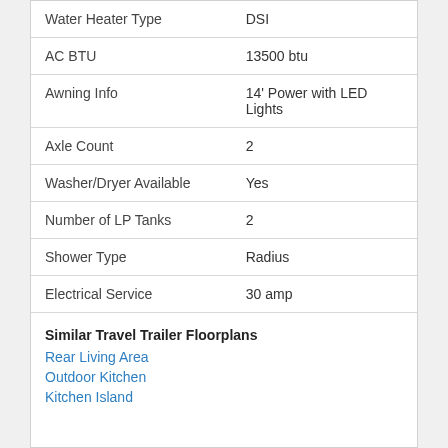| Feature | Value |
| --- | --- |
| Water Heater Type | DSI |
| AC BTU | 13500 btu |
| Awning Info | 14' Power with LED Lights |
| Axle Count | 2 |
| Washer/Dryer Available | Yes |
| Number of LP Tanks | 2 |
| Shower Type | Radius |
| Electrical Service | 30 amp |
Similar Travel Trailer Floorplans
Rear Living Area
Outdoor Kitchen
Kitchen Island